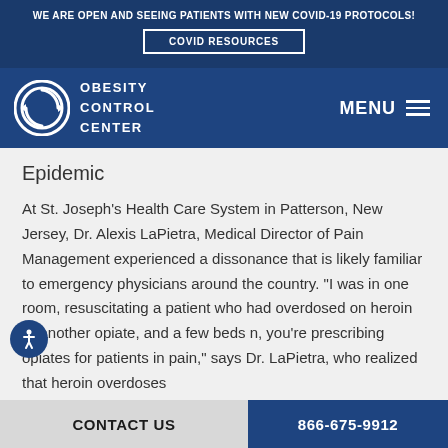WE ARE OPEN AND SEEING PATIENTS WITH NEW COVID-19 PROTOCOLS!
COVID RESOURCES
[Figure (logo): Obesity Control Center circular logo with arrow icon and text OBESITY CONTROL CENTER]
MENU
Epidemic
At St. Joseph's Health Care System in Patterson, New Jersey, Dr. Alexis LaPietra, Medical Director of Pain Management experienced a dissonance that is likely familiar to emergency physicians around the country. "I was in one room, resuscitating a patient who had overdosed on heroin or another opiate, and a few beds n, you're prescribing opiates for patients in pain," says Dr. LaPietra, who realized that heroin overdoses
CONTACT US | 866-675-9912